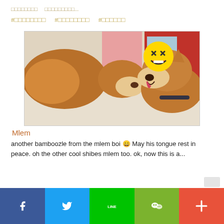□□□□□□□□   □□□□□□□□□...
#□□□□□□□□   #□□□□□□□□   #□□□□□□
[Figure (photo): Two Shiba Inu dogs facing each other, one appears to be licking the other. A laughing/grinning emoji is overlaid in the upper right portion of the photo. The photo is inside a bordered frame.]
Mlem
another bamboozle from the mlem boi 😄 May his tongue rest in peace. oh the other cool shibes mlem too. ok, now this is a...